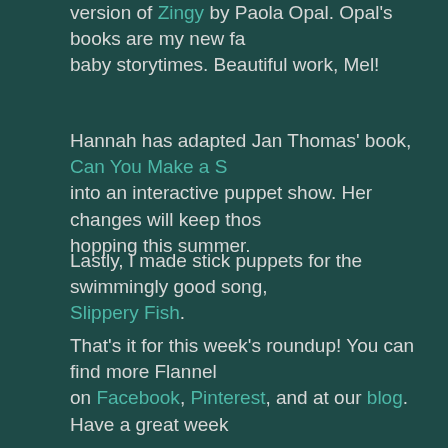version of Zingy by Paola Opal. Opal's books are my new fa baby storytimes. Beautiful work, Mel!
Hannah has adapted Jan Thomas' book, Can You Make a S into an interactive puppet show. Her changes will keep thos hopping this summer.
Lastly, I made stick puppets for the swimmingly good song, Slippery Fish.
That's it for this week's roundup! You can find more Flannel on Facebook, Pinterest, and at our blog. Have a great week
Posted by Mollie Kay at 9:19 PM     No comments:
Labels: Flannel Friday, round up
Flannel Friday – The Slippery Fish